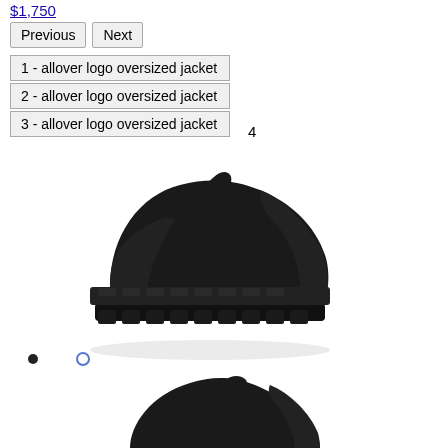$1,750
Previous
Next
1 - allover logo oversized jacket
2 - allover logo oversized jacket
3 - allover logo oversized jacket
4
[Figure (photo): Black chunky platform shoe/loafer with thick treaded sole, side profile view on white background]
[Figure (photo): Black chunky platform shoe/loafer, partially visible top portion, side profile view on white background]